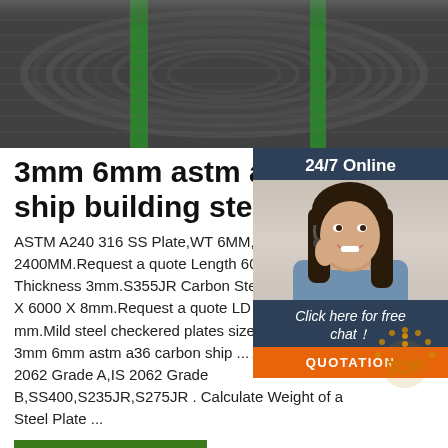[Figure (photo): Steel wire coils with green straps on top]
3mm 6mm astm a36 carbon ship building steel plate
ASTM A240 316 SS Plate,WT 6MM,LG 2400MM.Request a quote Length 6000mm Thickness 3mm.S355JR Carbon Steel Plate X 6000 X 8mm.Request a quote LD 17 S mm.Mild steel checkered plates size 125 3mm 6mm astm a36 carbon ship ... AST 2062 Grade A,IS 2062 Grade B,SS400,S235JR,S275JR . Calculate Weight of a Steel Plate ...
[Figure (photo): Customer service representative with headset, sidebar with 24/7 Online, Click here for free chat, QUOTATION button]
[Figure (other): TOP back-to-top button with dotted circular arrow]
Get Price